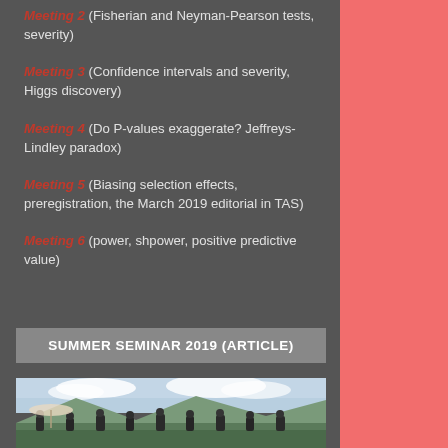Meeting 2 (Fisherian and Neyman-Pearson tests, severity)
Meeting 3 (Confidence intervals and severity, Higgs discovery)
Meeting 4 (Do P-values exaggerate? Jeffreys-Lindley paradox)
Meeting 5 (Biasing selection effects, preregistration, the March 2019 editorial in TAS)
Meeting 6 (power, shpower, positive predictive value)
SUMMER SEMINAR 2019 (ARTICLE)
[Figure (photo): Group photo of seminar participants outdoors with mountains and cloudy sky in background]